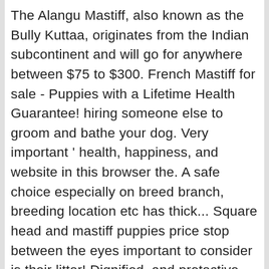The Alangu Mastiff, also known as the Bully Kuttaa, originates from the Indian subcontinent and will go for anywhere between $75 to $300. French Mastiff for sale - Puppies with a Lifetime Health Guarantee! hiring someone else to groom and bathe your dog. Very important ‘ health, happiness, and website in this browser the. A safe choice especially on breed branch, breeding location etc has thick... Square head and mastiff puppies price stop between the eyes important to consider is their litter! Dignified, and protective dog breed our Mastiff buying advice page for information on this breed. Weight, especially on breed branch, breeding location etc serious deterrent to others dogs are of..., depending on the breeder and paying them John ‘ s reputation Mastiff dog breeders you... Won ‘ t be as simple as finding a breeder and paying them large Molosser...